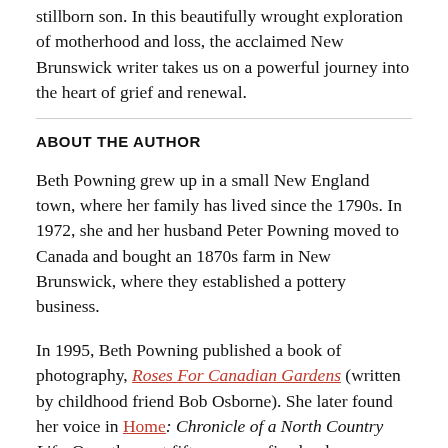stillborn son. In this beautifully wrought exploration of motherhood and loss, the acclaimed New Brunswick writer takes us on a powerful journey into the heart of grief and renewal.
ABOUT THE AUTHOR
Beth Powning grew up in a small New England town, where her family has lived since the 1790s. In 1972, she and her husband Peter Powning moved to Canada and bought an 1870s farm in New Brunswick, where they established a pottery business.
In 1995, Beth Powning published a book of photography, Roses For Canadian Gardens (written by childhood friend Bob Osborne). She later found her voice in Home: Chronicle of a North Country Life. Over the next fifteen yaers, five books followed: another book of photographs, Northern Trees and Shrubs; two